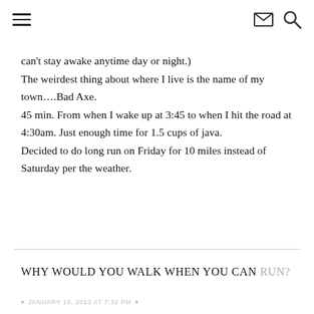☰  ✉ 🔍
can't stay awake anytime day or night.) The weirdest thing about where I live is the name of my town….Bad Axe. 45 min. From when I wake up at 3:45 to when I hit the road at 4:30am. Just enough time for 1.5 cups of java. Decided to do long run on Friday for 10 miles instead of Saturday per the weather.
WHY WOULD YOU WALK WHEN YOU CAN RUN?
JANUARY 19, 2013 AT 7:32 PM